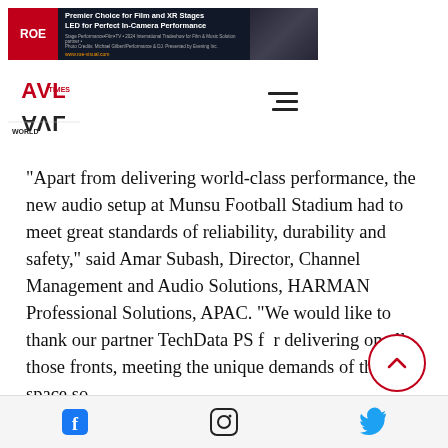[Figure (other): ROE Visual banner advertisement: Premier Choice for Film and XR Stages LED for Perfect In-Camera Performance]
[Figure (logo): AVL World Times logo in red and black]
[Figure (other): Hamburger menu icon (three horizontal lines)]
"Apart from delivering world-class performance, the new audio setup at Munsu Football Stadium had to meet great standards of reliability, durability and safety," said Amar Subash, Director, Channel Management and Audio Solutions, HARMAN Professional Solutions, APAC. "We would like to thank our partner TechData PS for delivering on all those fronts, meeting the unique demands of the space so
[Figure (other): Scroll to top button - circle with upward chevron]
[Figure (other): Social media icons bar: Facebook, Instagram, Twitter]